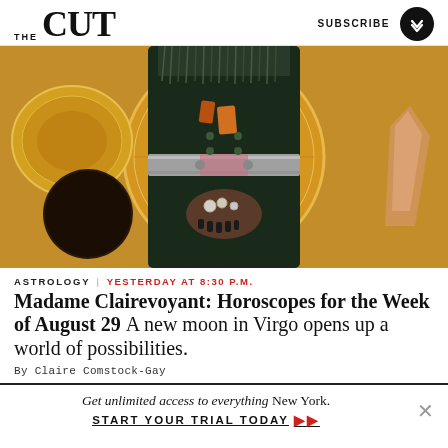THE CUT | SUBSCRIBE
[Figure (photo): Hero image of a woman in a dark blazer with fringe details, metallic belt, and rings, set against a golden astrological chart background with celestial elements including a dark moon and crystal.]
ASTROLOGY | YESTERDAY AT 8:30 P.M.
Madame Clairevoyant: Horoscopes for the Week of August 29 A new moon in Virgo opens up a world of possibilities.
By Claire Comstock-Gay
Get unlimited access to everything New York. START YOUR TRIAL TODAY ➤➤